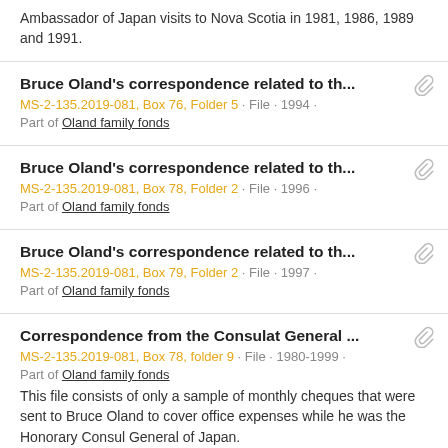Ambassador of Japan visits to Nova Scotia in 1981, 1986, 1989 and 1991.
Bruce Oland's correspondence related to th... MS-2-135.2019-081, Box 76, Folder 5 · File · 1994 · Part of Oland family fonds
Bruce Oland's correspondence related to th... MS-2-135.2019-081, Box 78, Folder 2 · File · 1996 · Part of Oland family fonds
Bruce Oland's correspondence related to th... MS-2-135.2019-081, Box 79, Folder 2 · File · 1997 · Part of Oland family fonds
Correspondence from the Consulat General ... MS-2-135.2019-081, Box 78, folder 9 · File · 1980-1999 · Part of Oland family fonds. This file consists of only a sample of monthly cheques that were sent to Bruce Oland to cover office expenses while he was the Honorary Consul General of Japan.
Letter from Eliza S...